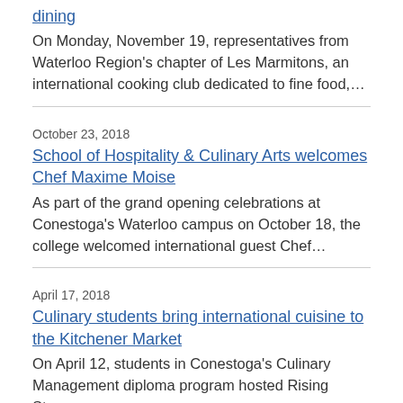dining
On Monday, November 19, representatives from Waterloo Region's chapter of Les Marmitons, an international cooking club dedicated to fine food,...
October 23, 2018
School of Hospitality & Culinary Arts welcomes Chef Maxime Moise
As part of the grand opening celebrations at Conestoga's Waterloo campus on October 18, the college welcomed international guest Chef...
April 17, 2018
Culinary students bring international cuisine to the Kitchener Market
On April 12, students in Conestoga's Culinary Management diploma program hosted Rising Stars: